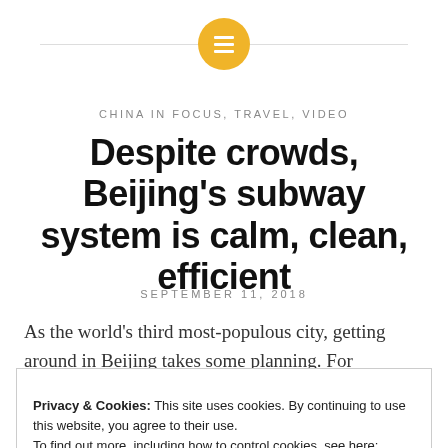[Figure (logo): Golden/amber circular icon with three horizontal white lines (hamburger menu icon)]
CHINA IN FOCUS, TRAVEL, VIDEO
Despite crowds, Beijing's subway system is calm, clean, efficient
SEPTEMBER 11, 2018
As the world's third most-populous city, getting around in Beijing takes some planning. For
Privacy & Cookies: This site uses cookies. By continuing to use this website, you agree to their use.
To find out more, including how to control cookies, see here: Cookie Policy
Close and accept
certain drivers can hit the road. Other restrictions